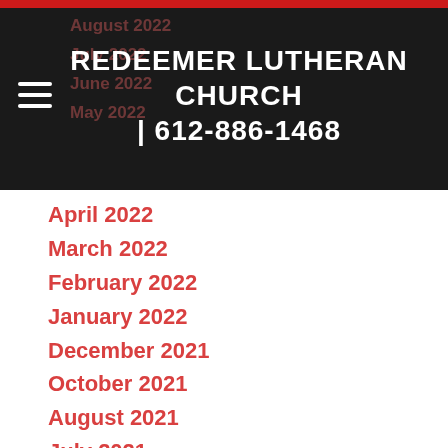REDEEMER LUTHERAN CHURCH | 612-886-1468
April 2022
March 2022
February 2022
January 2022
December 2021
October 2021
August 2021
July 2021
June 2021
May 2021
April 2021
March 2021
February 2021
January 2021
December 2020